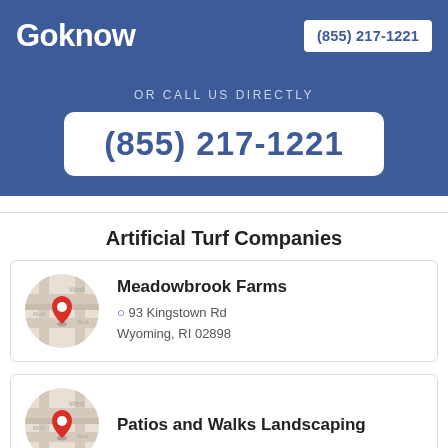Goknow  (855) 217-1221
OR CALL US DIRECTLY
(855) 217-1221
Artificial Turf Companies
Meadowbrook Farms
93 Kingstown Rd
Wyoming, RI 02898
Patios and Walks Landscaping